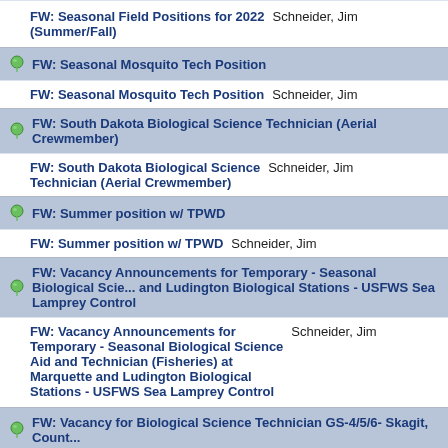FW: Seasonal Field Positions for 2022 (Summer/Fall) — Schneider, Jim
FW: Seasonal Mosquito Tech Position (header)
FW: Seasonal Mosquito Tech Position — Schneider, Jim
FW: South Dakota Biological Science Technician (Aerial Crewmember) (header)
FW: South Dakota Biological Science Technician (Aerial Crewmember) — Schneider, Jim
FW: Summer position w/ TPWD (header)
FW: Summer position w/ TPWD — Schneider, Jim
FW: Vacancy Announcements for Temporary - Seasonal Biological Science and Ludington Biological Stations - USFWS Sea Lamprey Control (header)
FW: Vacancy Announcements for Temporary - Seasonal Biological Science Aid and Technician (Fisheries) at Marquette and Ludington Biological Stations - USFWS Sea Lamprey Control — Schneider, Jim
FW: Vacancy for Biological Science Technician GS-4/5/6- Skagit, County (header)
FW: Vacancy for Biological Science Technician GS-4/5/6- Skagit, County, WA — Schneider, Jim
FW: Wisconsin DNR Black River Falls Wildlife Biologist recruitment (header)
FW: Wisconsin DNR Black River Falls...